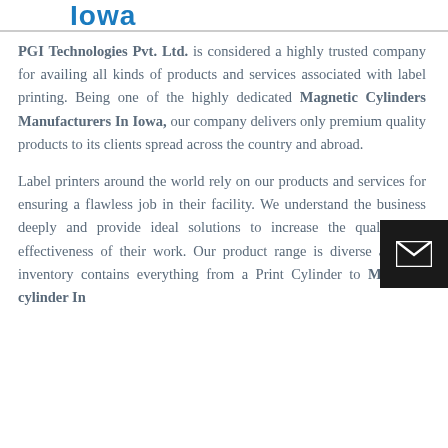Iowa
PGI Technologies Pvt. Ltd. is considered a highly trusted company for availing all kinds of products and services associated with label printing. Being one of the highly dedicated Magnetic Cylinders Manufacturers In Iowa, our company delivers only premium quality products to its clients spread across the country and abroad.
Label printers around the world rely on our products and services for ensuring a flawless job in their facility. We understand the business deeply and provide ideal solutions to increase the quality and effectiveness of their work. Our product range is diverse and our inventory contains everything from a Print Cylinder to Magnetic cylinder In